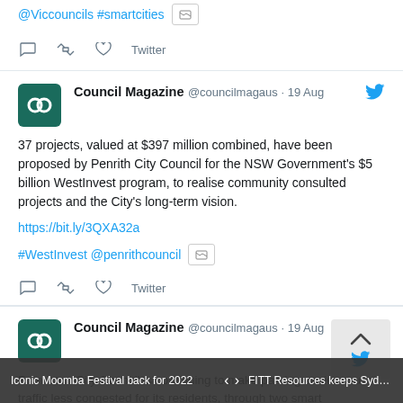@Viccouncils #smartcities [image icon]
reply retweet like Twitter
Council Magazine @councilmagaus · 19 Aug
37 projects, valued at $397 million combined, have been proposed by Penrith City Council for the NSW Government's $5 billion WestInvest program, to realise community consulted projects and the City's long-term vision.
https://bit.ly/3QXA32a
#WestInvest @penrithcouncil [image icon]
reply retweet like Twitter
Council Magazine @councilmagaus · 19 Aug
Frankston City Council is continuing to make parking easier and traffic less congested for its residents, through two smart
Iconic Moomba Festival back for 2022  <  >  FITT Resources keeps Sydney Water pu...